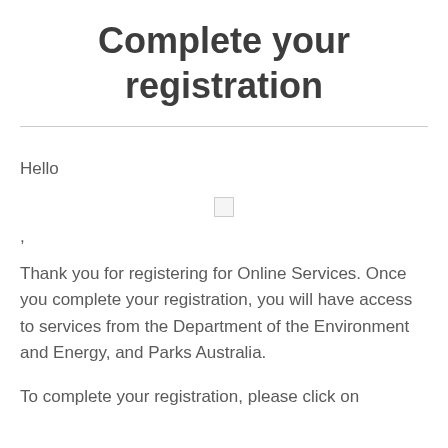Complete your registration
Hello
,
Thank you for registering for Online Services. Once you complete your registration, you will have access to services from the Department of the Environment and Energy, and Parks Australia.
To complete your registration, please click on